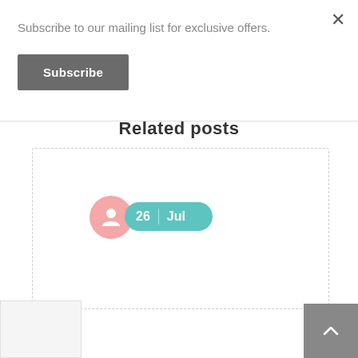Subscribe to our mailing list for exclusive offers.
Subscribe
Related posts
[Figure (other): Post card area with dashed border, pink author icon circle with person silhouette, and teal date badge showing '26 | Jul']
[Figure (other): Back to top button (gray square with upward chevron arrow)]